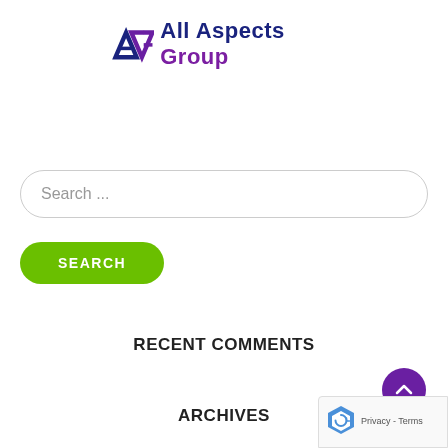[Figure (logo): All Aspects Group logo with stylized AG monogram in blue/purple and company name in bold dark blue and purple]
Search ...
SEARCH
RECENT COMMENTS
ARCHIVES